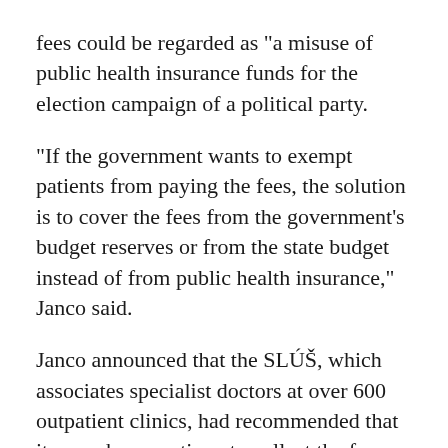fees could be regarded as "a misuse of public health insurance funds for the election campaign of a political party.
"If the government wants to exempt patients from paying the fees, the solution is to cover the fees from the government's budget reserves or from the state budget instead of from public health insurance," Janco said.
Janco announced that the SLÚŠ, which associates specialist doctors at over 600 outpatient clinics, had recommended that its members continue to collect the fees on a voluntary basis from patients.
It remains to be seen what impact the SLÚŠ appeal will have on its members. The Health Ministry has